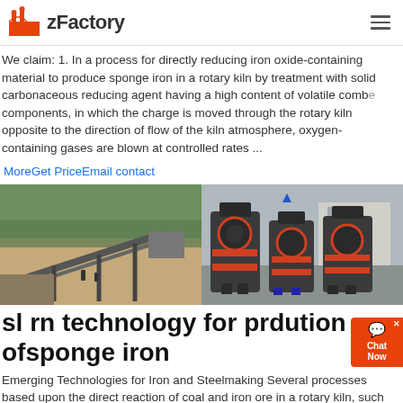zFactory
We claim: 1. In a process for directly reducing iron oxide-containing material to produce sponge iron in a rotary kiln by treatment with solid carbonaceous reducing agent having a high content of volatile combustible components, in which the charge is moved through the rotary kiln opposite to the direction of flow of the kiln atmosphere, oxygen-containing gases are blown at controlled rates ...
MoreGet PriceEmail contact
[Figure (photo): Two industrial machinery photos side by side: left shows outdoor mining/conveyor equipment, right shows large industrial grinding/milling machines in a factory.]
sl rn technology for prdution ofsponge iron
Emerging Technologies for Iron and Steelmaking Several processes based upon the direct reaction of coal and iron ore in a rotary kiln, such